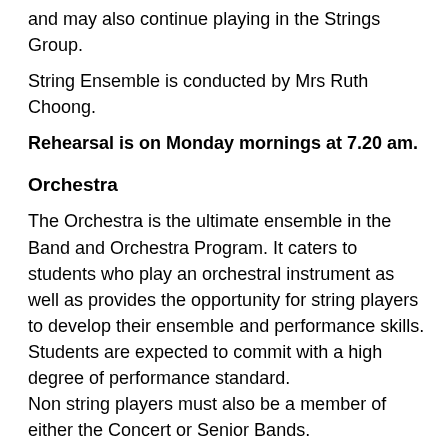and may also continue playing in the Strings Group.
String Ensemble is conducted by Mrs Ruth Choong.
Rehearsal is on Monday mornings at 7.20 am.
Orchestra
The Orchestra is the ultimate ensemble in the Band and Orchestra Program. It caters to students who play an orchestral instrument as well as provides the opportunity for string players to develop their ensemble and performance skills. Students are expected to commit with a high degree of performance standard.
Non string players must also be a member of either the Concert or Senior Bands.
Orchestra is conducted by Dr Luis Madrid.